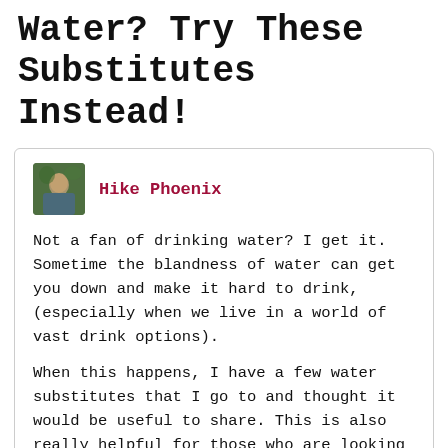Water? Try These Substitutes Instead!
[Figure (photo): Small circular avatar photo of a person outdoors with greenery in background]
Hike Phoenix
Not a fan of drinking water? I get it. Sometime the blandness of water can get you down and make it hard to drink, (especially when we live in a world of vast drink options).
When this happens, I have a few water substitutes that I go to and thought it would be useful to share. This is also really helpful for those who are looking to stay hydrated , especially during the summer months!